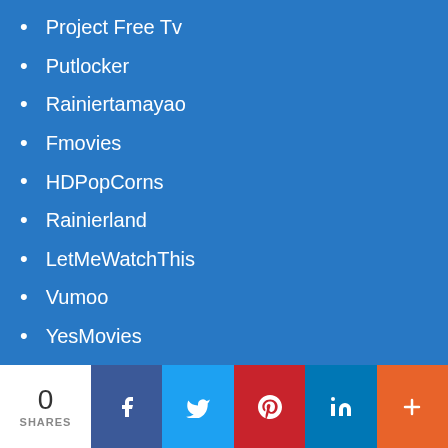Project Free Tv
Putlocker
Rainiertamayao
Fmovies
HDPopCorns
Rainierland
LetMeWatchThis
Vumoo
YesMovies
Primewire
Couchtuner
OnlineMoviesCinema
Watch Tamil Movies Online
0 SHARES | Facebook | Twitter | Pinterest | LinkedIn | More